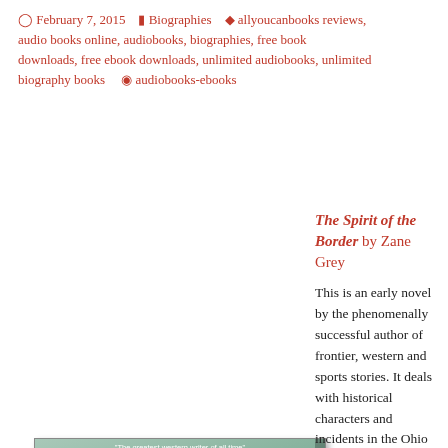February 7, 2015   Biographies   allyoucanbooks reviews, audio books online, audiobooks, biographies, free book downloads, free ebook downloads, unlimited audiobooks, unlimited biography books   audiobooks-ebooks
[Figure (photo): Book cover of 'The Spirit of the Border' by Zane Grey, showing a Native American figure holding a rifle with a painted shield, green background with the author name in large red letters.]
The Spirit of the Border by Zane Grey
This is an early novel by the phenomenally successful author of frontier, western and sports stories. It deals with historical characters and incidents in the Ohio Valley in the late 18th century,